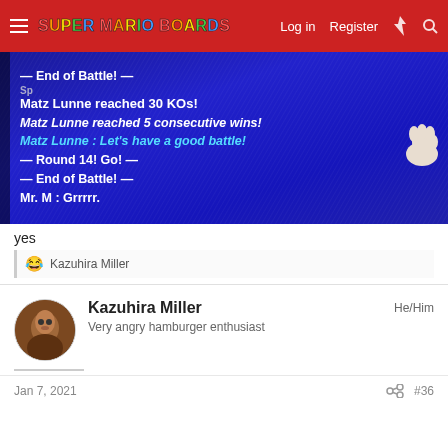Super Mario Boards — Log in  Register
[Figure (screenshot): Game screenshot on blue background showing battle results: '— End of Battle! —', 'Matz Lunne reached 30 KOs!', 'Matz Lunne reached 5 consecutive wins!', 'Matz Lunne : Let’s have a good battle!', '— Round 14! Go! —', '— End of Battle! —', 'Mr. M : Grrrrr.']
yes
😂 Kazuhira Miller
Kazuhira Miller  He/Him
Very angry hamburger enthusiast
Jan 7, 2021  #36